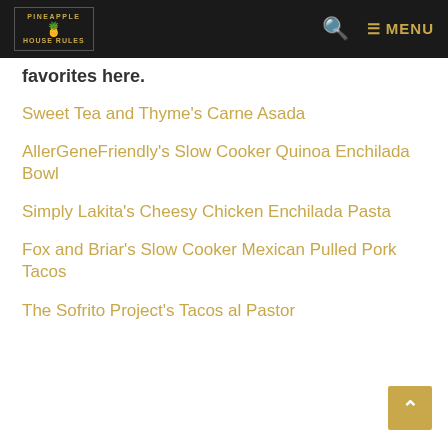PINEAPPLE HOUSE RULES | search icon | MENU
favorites here.
Sweet Tea and Thyme's Carne Asada
AllerGeneFriendly's Slow Cooker Quinoa Enchilada Bowl
Simply Lakita's Cheesy Chicken Enchilada Pasta
Fox and Briar's Slow Cooker Mexican Pulled Pork Tacos
The Sofrito Project's Tacos al Pastor